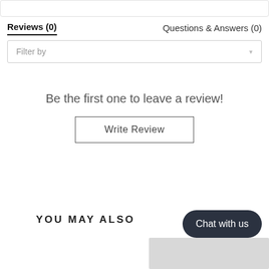Reviews (0)
Questions & Answers (0)
Filter by
Be the first one to leave a review!
Write Review
YOU MAY ALSO
Chat with us